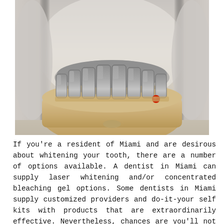[Figure (photo): Close-up photo of a dental model showing metallic dental crowns/caps on a beige plaster base, held by gloved hands. A small red dot is visible near the bottom right of the metal teeth row.]
If you're a resident of Miami and are desirous about whitening your tooth, there are a number of options available. A dentist in Miami can supply laser whitening and/or concentrated bleaching gel options. Some dentists in Miami supply customized providers and do-it-your self kits with products that are extraordinarily effective. Nevertheless, chances are you'll not know which service most accurately fits your needs. There are particular